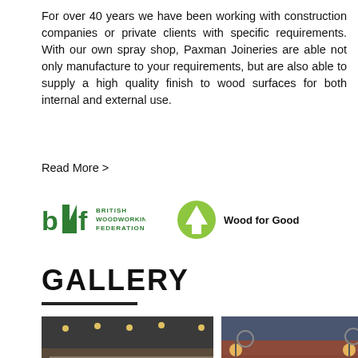For over 40 years we have been working with construction companies or private clients with specific requirements. With our own spray shop, Paxman Joineries are able not only manufacture to your requirements, but are also able to supply a high quality finish to wood surfaces for both internal and external use.
Read More >
[Figure (logo): British Woodworking Federation logo (bwf) in green, with text BRITISH WOODWORKING FEDERATION]
[Figure (logo): Wood for Good logo - green circle with white tree icon, text 'Wood for Good']
GALLERY
[Figure (photo): Interior photo of a bar/restaurant with colourful bar stools and lighting]
[Figure (photo): Exterior photo of a red brick building with ornate lamps, at dusk]